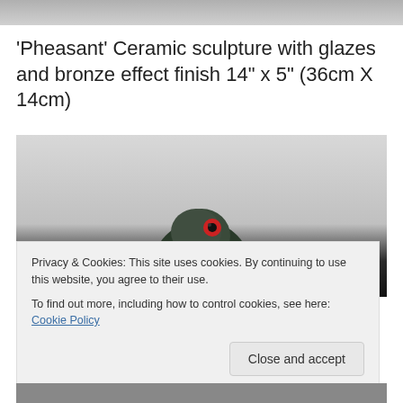[Figure (photo): Top portion of a ceramic pheasant sculpture photo, cropped]
'Pheasant' Ceramic sculpture with glazes and bronze effect finish 14" x 5" (36cm X 14cm)
[Figure (photo): Ceramic pheasant sculpture with dark glaze and bronze effect finish, showing head with red eye detail, on white background]
Privacy & Cookies: This site uses cookies. By continuing to use this website, you agree to their use.
To find out more, including how to control cookies, see here: Cookie Policy
Close and accept